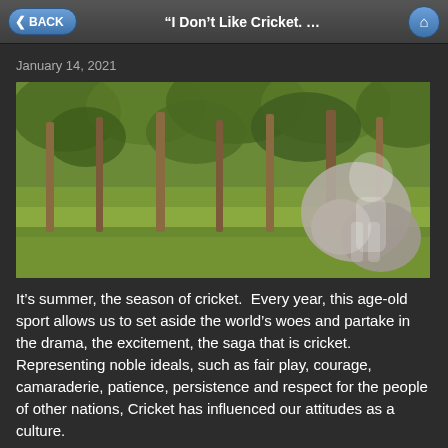BACK | "I Don't Like Cricket. ..." | home
January 14, 2021
[Figure (photo): Outdoor forest scene with eucalyptus trees on grassy ground, a large rock on the right side, and what appears to be a translucent ghostly figure overlay.]
It’s summer, the season of cricket.  Every year, this age-old sport allows us to set aside the world’s woes and partake in the drama, the excitement, the saga that is cricket. Representing noble ideals, such as fair play, courage, camaraderie, patience, persistence and respect for the people of other nations, Cricket has influenced our attitudes as a culture.